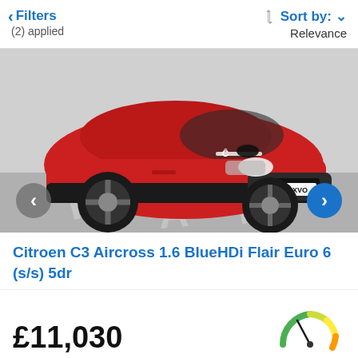< Filters (2) applied | Sort by: Relevance
[Figure (photo): Red Citroen C3 Aircross SUV parked in a car park, registration plate HX18 XVO, front three-quarter view]
Citroen C3 Aircross 1.6 BlueHDi Flair Euro 6 (s/s) 5dr
£11,030
[Figure (other): Circular gauge/speedometer style indicator showing vehicle value score, with green, yellow and red sections and a needle pointing to a position in the green-yellow area]